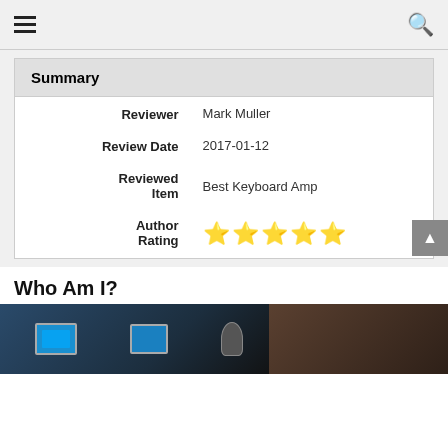Navigation menu and search
| Field | Value |
| --- | --- |
| Reviewer | Mark Muller |
| Review Date | 2017-01-12 |
| Reviewed Item | Best Keyboard Amp |
| Author Rating | ★★★★★ |
Who Am I?
[Figure (photo): Photo of a person at a computer setup with monitors and studio equipment]